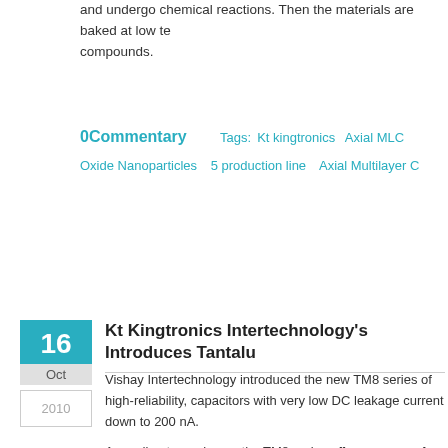and undergo chemical reactions. Then the materials are baked at low temperatures to form compounds.
0Commentary   Tags: Kt kingtronics   Axial MLC   Oxide Nanoparticles   5 production line   Axial Multilayer C
Kt Kingtronics Intertechnology's Introduces Tantalum...
2010
Vishay Intertechnology introduced the new TM8 series of high-reliability, capacitors with very low DC leakage current down to 200 nA.
According to a release, the TM8 series offers a range of capacitance-vo V to 47 microfarads / 10 V in seven compact case sizes. The capacitors performance in critical applications including implantable medical device military/aerospace systems. Special screening and custom application-s
The devices released are optimized for filtering, coupling/decoupling, DC applications in medical devices such as pacemakers, ICD, neurological cochlear implants; medical instrumentation including patient monitoring